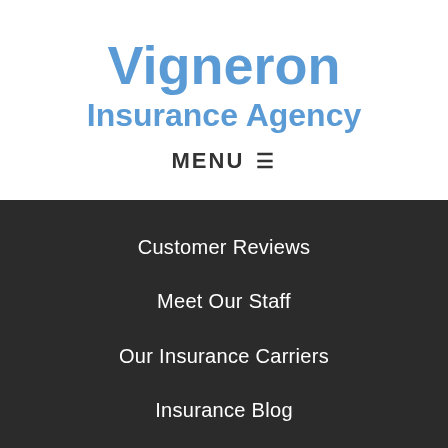Vigneron
Insurance Agency
MENU ☰
Customer Reviews
Meet Our Staff
Our Insurance Carriers
Insurance Blog